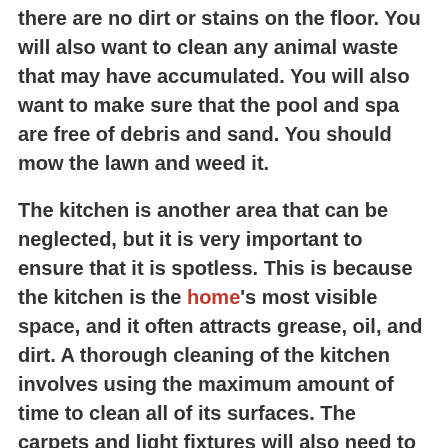there are no dirt or stains on the floor. You will also want to clean any animal waste that may have accumulated. You will also want to make sure that the pool and spa are free of debris and sand. You should mow the lawn and weed it.
The kitchen is another area that can be neglected, but it is very important to ensure that it is spotless. This is because the kitchen is the home's most visible space, and it often attracts grease, oil, and dirt. A thorough cleaning of the kitchen involves using the maximum amount of time to clean all of its surfaces. The carpets and light fixtures will also need to be cleaned, so make sure to choose a professional for this task.
THE KITCHEN IS AN OBVIOUS AREA TO CLEAN. IT IS A MAGNET FOR OIL